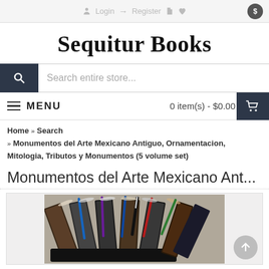Login → Register $ ♥ $
Sequitur Books
Search entire store...
MENU    0 item(s) - $0.00
Home » Search » Monumentos del Arte Mexicano Antiguo, Ornamentacion, Mitologia, Tributos y Monumentos (5 volume set)
Monumentos del Arte Mexicano Ant...
[Figure (photo): Photo of five antique hardcover books standing upright fanned out, with colorful pens inserted between them, viewed from the side showing their spines and pages.]